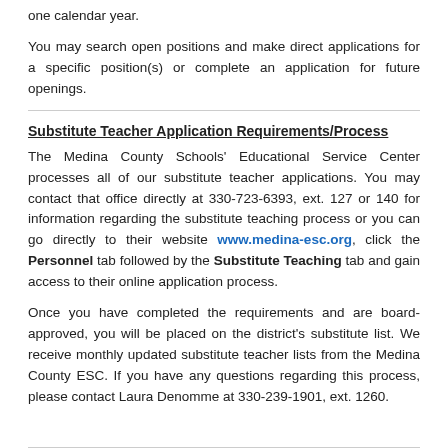one calendar year.
You may search open positions and make direct applications for a specific position(s) or complete an application for future openings.
Substitute Teacher Application Requirements/Process
The Medina County Schools' Educational Service Center processes all of our substitute teacher applications. You may contact that office directly at 330-723-6393, ext. 127 or 140 for information regarding the substitute teaching process or you can go directly to their website www.medina-esc.org, click the Personnel tab followed by the Substitute Teaching tab and gain access to their online application process.
Once you have completed the requirements and are board-approved, you will be placed on the district's substitute list. We receive monthly updated substitute teacher lists from the Medina County ESC. If you have any questions regarding this process, please contact Laura Denomme at 330-239-1901, ext. 1260.